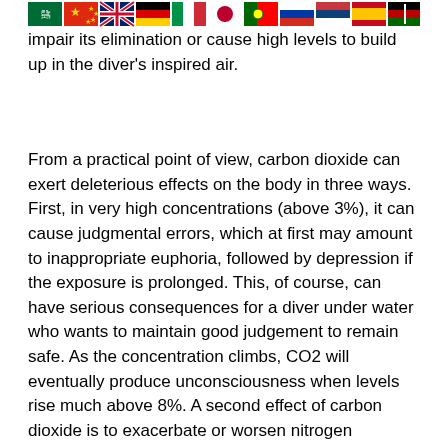[Figure (illustration): A row of country flags: Saudi Arabia, China, UK, Germany, Italy, Japan, Portugal, Russia, Serbia, Spain, Kenya]
respiratory ... impair its elimination or cause high levels to build up in the diver's inspired air.
From a practical point of view, carbon dioxide can exert deleterious effects on the body in three ways. First, in very high concentrations (above 3%), it can cause judgmental errors, which at first may amount to inappropriate euphoria, followed by depression if the exposure is prolonged. This, of course, can have serious consequences for a diver under water who wants to maintain good judgement to remain safe. As the concentration climbs, CO2 will eventually produce unconsciousness when levels rise much above 8%. A second effect of carbon dioxide is to exacerbate or worsen nitrogen narcosis (see below). At partial pressures of above 40 mm Hg, carbon dioxide begins to have this effect (Bennett and Elliot 1993). At high PO2's, such as one is exposed to in diving, the respiratory drive due to high CO2 is attenuated and it is possible under certain conditions for divers who tend to retain CO2 to increase their levels of carbon dioxide sufficient to render them